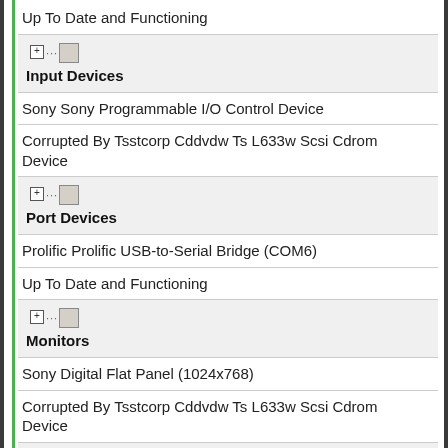Up To Date and Functioning
Input Devices
Sony Sony Programmable I/O Control Device
Corrupted By Tsstcorp Cddvdw Ts L633w Scsi Cdrom Device
Port Devices
Prolific Prolific USB-to-Serial Bridge (COM6)
Up To Date and Functioning
Monitors
Sony Digital Flat Panel (1024x768)
Corrupted By Tsstcorp Cddvdw Ts L633w Scsi Cdrom Device
Mobile Phones And Portable Devices
Acer NOKIA
Corrupted By Tsstcorp Cddvdw Ts L633w Scsi Cdrom